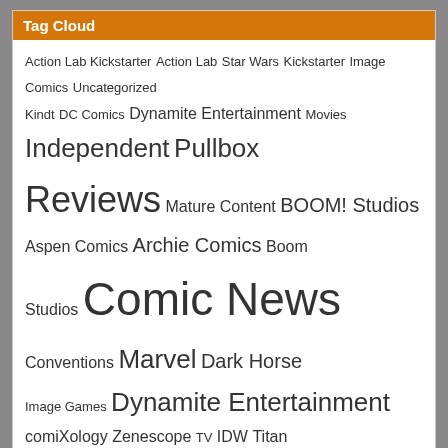Tag Cloud
Action Lab Kickstarter Action Lab Star Wars Kickstarter Image Comics Uncategorized Kindt DC Comics Dynamite Entertainment Movies Independent Pullbox Reviews Mature Content BOOM! Studios Aspen Comics Archie Comics Boom Studios Comic News Conventions Marvel Dark Horse Image Games Dynamite Entertainment comiXology Zenescope TV IDW Titan BOOM! Studios Zenescope Pullbox Previews Family Friendly Marvel Book News Dark Horse Archie Comics IDW Valiant Valiant Comic Reviews Titan Comics Dynamite Toys
ThePullbox.com is a part of ThePullbox LLC © 2007-2022